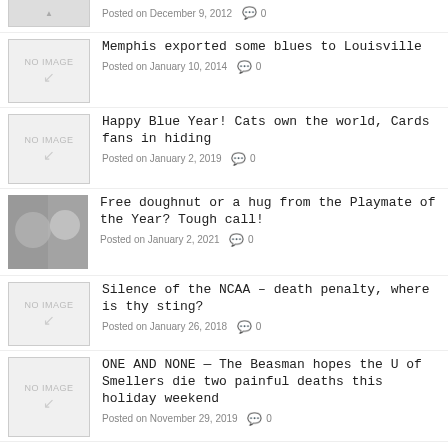[Figure (photo): Partial thumbnail at top, cropped]
Posted on December 9, 2012  💬 0
[Figure (photo): NO IMAGE placeholder]
Memphis exported some blues to Louisville
Posted on January 10, 2014  💬 0
[Figure (photo): NO IMAGE placeholder]
Happy Blue Year! Cats own the world, Cards fans in hiding
Posted on January 2, 2019  💬 0
[Figure (photo): Photo of women at party]
Free doughnut or a hug from the Playmate of the Year? Tough call!
Posted on January 2, 2021  💬 0
[Figure (photo): NO IMAGE placeholder]
Silence of the NCAA – death penalty, where is thy sting?
Posted on January 26, 2018  💬 0
[Figure (photo): NO IMAGE placeholder]
ONE AND NONE — The Beasman hopes the U of Smellers die two painful deaths this holiday weekend
Posted on November 29, 2019  💬 0
[Figure (photo): Photo of Rudy Giuliani]
Rudy sprang a leak!
Posted on November 19, 2020  💬 0